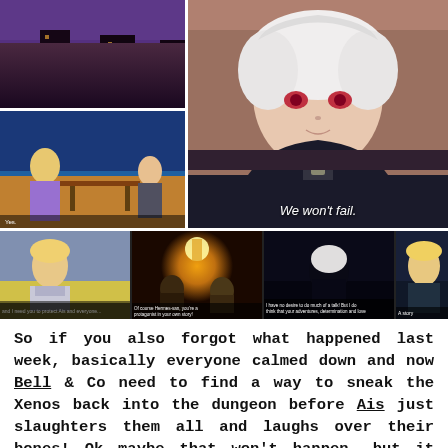[Figure (photo): Collage of anime screenshots from DanMachi/Is It Wrong to Try to Pick Up Girls in a Dungeon. Top-left: dark city scene with purple sky. Top-right (large): white-haired boy (Bell Cranel) in dark cloak with red eyes, subtitle 'We won't fail.' Mid-left: character in indoor scene with blue/orange lighting. Bottom row (4 images): blonde female character, characters in warm lantern light, dark scene with white-haired character, partial view of female character.]
So if you also forgot what happened last week, basically everyone calmed down and now Bell & Co need to find a way to sneak the Xenos back into the dungeon before Ais just slaughters them all and laughs over their bones! Ok maybe that won't happen, but it could. And that's reason enough to